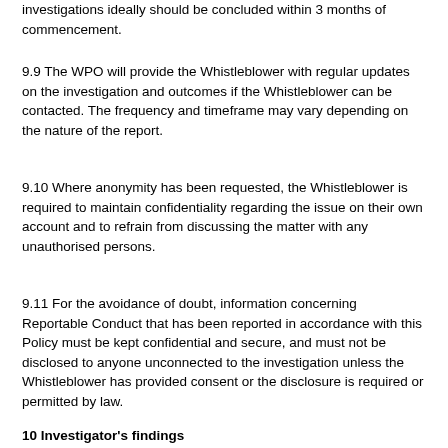investigations ideally should be concluded within 3 months of commencement.
9.9 The WPO will provide the Whistleblower with regular updates on the investigation and outcomes if the Whistleblower can be contacted. The frequency and timeframe may vary depending on the nature of the report.
9.10 Where anonymity has been requested, the Whistleblower is required to maintain confidentiality regarding the issue on their own account and to refrain from discussing the matter with any unauthorised persons.
9.11 For the avoidance of doubt, information concerning Reportable Conduct that has been reported in accordance with this Policy must be kept confidential and secure, and must not be disclosed to anyone unconnected to the investigation unless the Whistleblower has provided consent or the disclosure is required or permitted by law.
10 Investigator's findings